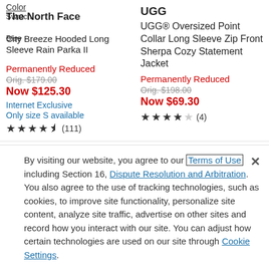Color
Swatch
The North Face
City Breeze Hooded Long
Blue
Sleeve Rain Parka II
Permanently Reduced
Orig. $179.00
Now $125.30
Internet Exclusive
Only size S available
★★★★½ (111)
UGG
UGG® Oversized Point Collar Long Sleeve Zip Front Sherpa Cozy Statement Jacket
Permanently Reduced
Orig. $198.00
Now $69.30
★★★★☆ (4)
By visiting our website, you agree to our Terms of Use including Section 16, Dispute Resolution and Arbitration. You also agree to the use of tracking technologies, such as cookies, to improve site functionality, personalize site content, analyze site traffic, advertise on other sites and record how you interact with our site. You can adjust how certain technologies are used on our site through Cookie Settings.